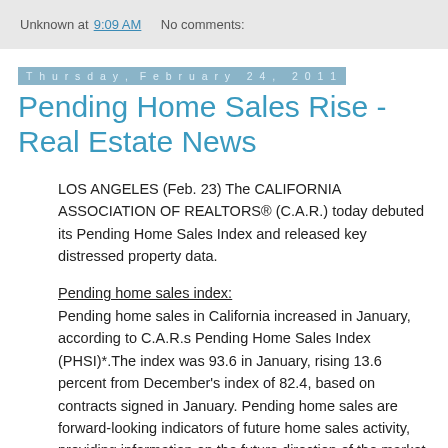Unknown at 9:09 AM   No comments:
Thursday, February 24, 2011
Pending Home Sales Rise - Real Estate News
LOS ANGELES (Feb. 23) The CALIFORNIA ASSOCIATION OF REALTORS® (C.A.R.) today debuted its Pending Home Sales Index and released key distressed property data.
Pending home sales index:
Pending home sales in California increased in January, according to C.A.R.s Pending Home Sales Index (PHSI)*.The index was 93.6 in January, rising 13.6 percent from December's index of 82.4, based on contracts signed in January. Pending home sales are forward-looking indicators of future home sales activity, providing information on the future direction of the market.
'Pending sales typically rise in January from a seasonally